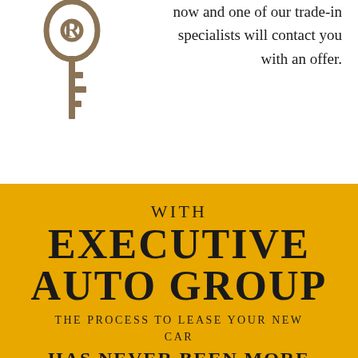[Figure (illustration): A car key illustration in dark/bronze color on white background, positioned in the upper left area of the page.]
now and one of our trade-in specialists will contact you with an offer.
WITH EXECUTIVE AUTO GROUP
THE PROCESS TO LEASE YOUR NEW CAR HAS NEVER BEEN MORE SIMPLE
[Figure (illustration): A circular icon or logo element at the bottom of the yellow section.]